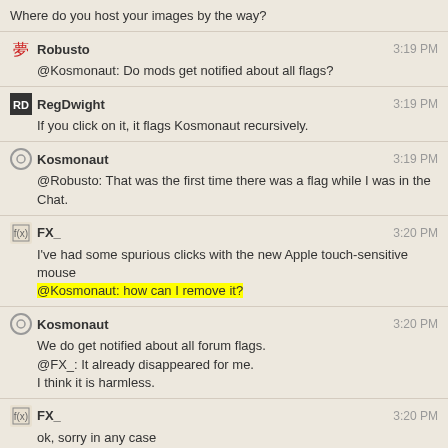Where do you host your images by the way?
Robusto 3:19 PM
@Kosmonaut: Do mods get notified about all flags?
RegDwight 3:19 PM
If you click on it, it flags Kosmonaut recursively.
Kosmonaut 3:19 PM
@Robusto: That was the first time there was a flag while I was in the Chat.
FX_ 3:20 PM
I've had some spurious clicks with the new Apple touch-sensitive mouse
@Kosmonaut: how can I remove it?
Kosmonaut 3:20 PM
We do get notified about all forum flags.
@FX_: It already disappeared for me.
I think it is harmless.
FX_ 3:20 PM
ok, sorry in any case
RegDwight 3:20 PM
@Kosmonaut Berühmte letzte Worte.
Kosmonaut 3:21 PM